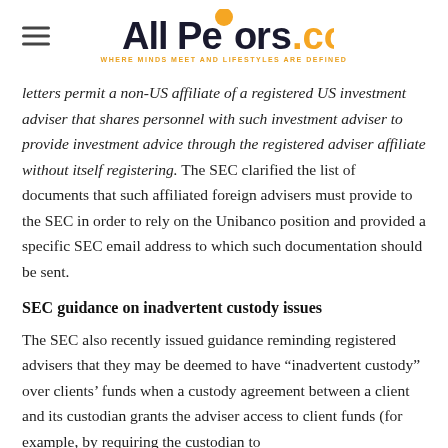All Peers.com — WHERE MINDS MEET AND LIFESTYLES ARE DEFINED
letters permit a non-US affiliate of a registered US investment adviser that shares personnel with such investment adviser to provide investment advice through the registered adviser affiliate without itself registering. The SEC clarified the list of documents that such affiliated foreign advisers must provide to the SEC in order to rely on the Unibanco position and provided a specific SEC email address to which such documentation should be sent.
SEC guidance on inadvertent custody issues
The SEC also recently issued guidance reminding registered advisers that they may be deemed to have “inadvertent custody” over clients’ funds when a custody agreement between a client and its custodian grants the adviser access to client funds (for example, by requiring the custodian to